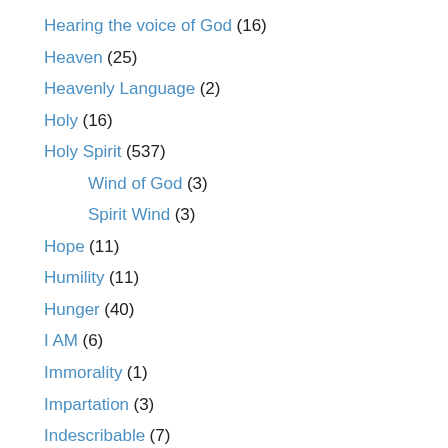Hearing the voice of God (16)
Heaven (25)
Heavenly Language (2)
Holy (16)
Holy Spirit (537)
Wind of God (3)
Spirit Wind (3)
Hope (11)
Humility (11)
Hunger (40)
I AM (6)
Immorality (1)
Impartation (3)
Indescribable (7)